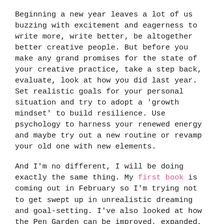Beginning a new year leaves a lot of us buzzing with excitement and eagerness to write more, write better, be altogether better creative people. But before you make any grand promises for the state of your creative practice, take a step back, evaluate, look at how you did last year. Set realistic goals for your personal situation and try to adopt a 'growth mindset' to build resilience. Use psychology to harness your renewed energy and maybe try out a new routine or revamp your old one with new elements.
And I'm no different, I will be doing exactly the same thing. My first book is coming out in February so I'm trying not to get swept up in unrealistic dreaming and goal-setting. I've also looked at how the Pen Garden can be improved, expanded, so the hinted changes to the format from last episode are indeed happening. The Pen Garden is growing, and I'm happy to announce that there is new beta reading service